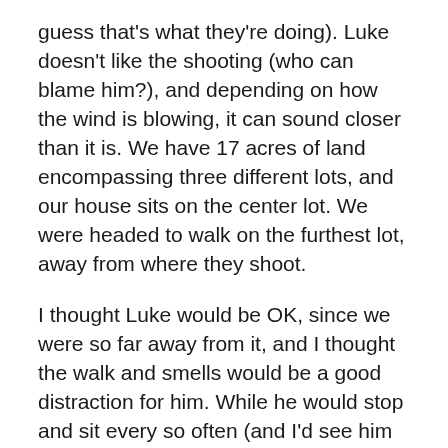guess that's what they're doing). Luke doesn't like the shooting (who can blame him?), and depending on how the wind is blowing, it can sound closer than it is. We have 17 acres of land encompassing three different lots, and our house sits on the center lot. We were headed to walk on the furthest lot, away from where they shoot.
I thought Luke would be OK, since we were so far away from it, and I thought the walk and smells would be a good distraction for him. While he would stop and sit every so often (and I'd see him shaking), he seemed to do OK with some encouragement. I did consider going right back to the house, but I was afraid he would take that to mean he really did need to be afraid. If we went to the house, we would still hear the shooting, and he would still be scared anyway. So we continued on.
It was going OK, and we had wandered away from the